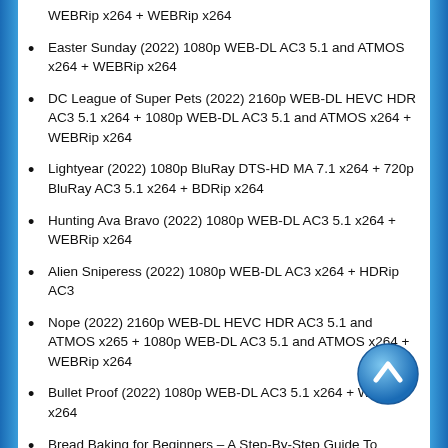WEBRip x264 + WEBRip x264
Easter Sunday (2022) 1080p WEB-DL AC3 5.1 and ATMOS x264 + WEBRip x264
DC League of Super Pets (2022) 2160p WEB-DL HEVC HDR AC3 5.1 x264 + 1080p WEB-DL AC3 5.1 and ATMOS x264 + WEBRip x264
Lightyear (2022) 1080p BluRay DTS-HD MA 7.1 x264 + 720p BluRay AC3 5.1 x264 + BDRip x264
Hunting Ava Bravo (2022) 1080p WEB-DL AC3 5.1 x264 + WEBRip x264
Alien Sniperess (2022) 1080p WEB-DL AC3 x264 + HDRip AC3
Nope (2022) 2160p WEB-DL HEVC HDR AC3 5.1 and ATMOS x265 + 1080p WEB-DL AC3 5.1 and ATMOS x264 + WEBRip x264
Bullet Proof (2022) 1080p WEB-DL AC3 5.1 x264 + WEBRip x264
Bread Baking for Beginners – A Step-By-Step Guide To Making